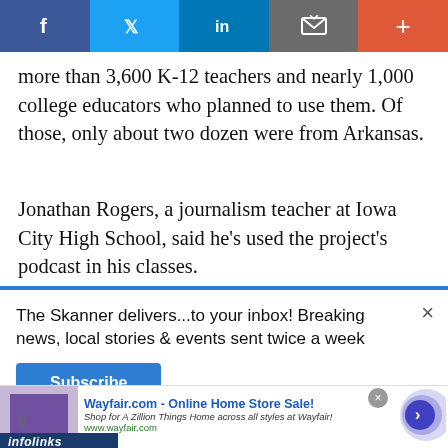[Figure (other): Social sharing bar with Facebook, Twitter, LinkedIn, email/bookmark, and plus buttons]
more than 3,600 K-12 teachers and nearly 1,000 college educators who planned to use them. Of those, only about two dozen were from Arkansas.
Jonathan Rogers, a journalism teacher at Iowa City High School, said he’s used the project’s podcast in his classes.
[Figure (photo): Partially visible photograph with PHOTOGRAPHY label]
[Figure (other): Newsletter signup popup: 'The Skanner delivers...to your inbox! Breaking news, local stories & events sent twice a week' with Subscribe button and close X]
[Figure (other): Infolinks branding bar]
[Figure (other): Wayfair.com advertisement: 'Wayfair.com - Online Home Store Sale! Shop for A Zillion Things Home across all styles at Wayfair! www.wayfair.com' with decorative circles and arrow]